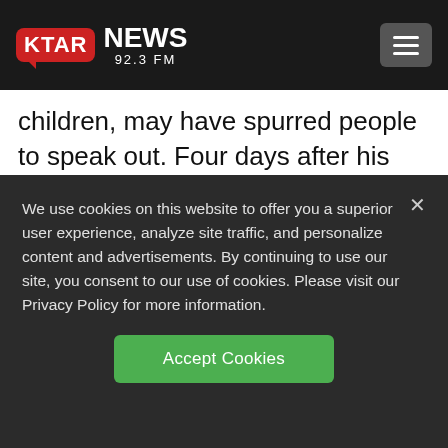KTAR NEWS 92.3 FM
children, may have spurred people to speak out. Four days after his arrest, the school was further roiled when a second teacher, Martin Springer, was arrested on suspicion of fondling two girls in his classroom, after students came forward. Additional
We use cookies on this website to offer you a superior user experience, analyze site traffic, and personalize content and advertisements. By continuing to use our site, you consent to our use of cookies. Please visit our Privacy Policy for more information.
Accept Cookies